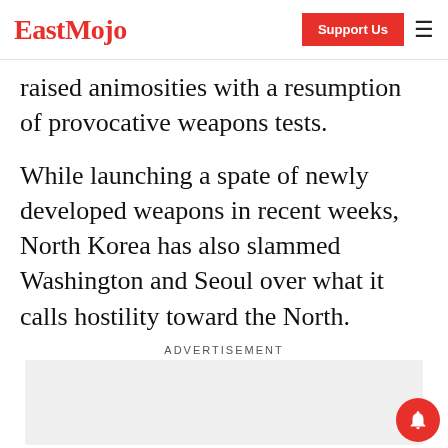EastMojo | Support Us
raised animosities with a resumption of provocative weapons tests.
While launching a spate of newly developed weapons in recent weeks, North Korea has also slammed Washington and Seoul over what it calls hostility toward the North.
ADVERTISEMENT
[Figure (other): Advertisement placeholder box (grey background)]